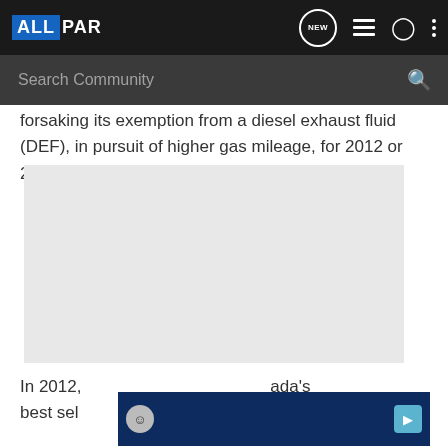ALLPAR - navigation bar with NEW, list, person, and more icons, and Search Community search bar
forsaking its exemption from a diesel exhaust fluid (DEF), in pursuit of higher gas mileage, for 2012 or 2013.
[Figure (photo): Gray placeholder image/advertisement block]
In 2012, [partially obscured by ad] ada's best sel[cut off]